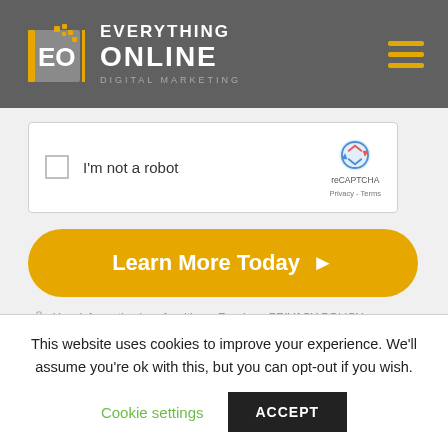[Figure (logo): Everything Online Digital Marketing logo with EO box, gold dots, and hamburger menu icon on dark gray header background]
[Figure (screenshot): reCAPTCHA widget with checkbox labeled 'I'm not a robot' and reCAPTCHA logo with Privacy - Terms links]
[Figure (other): Yellow rounded button with text 'Learn More Today' and right arrow]
Your information is safe with us. Read our PRIVACY POLICY.
This website uses cookies to improve your experience. We'll assume you're ok with this, but you can opt-out if you wish.
Cookie settings
ACCEPT